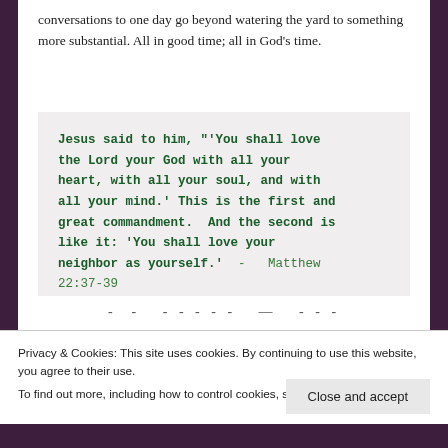conversations to one day go beyond watering the yard to something more substantial. All in good time; all in God’s time.
Jesus said to him, “‘You shall love the Lord your God with all your heart, with all your soul, and with all your mind.’ This is the first and great commandment. And the second is like it: ‘You shall love your neighbor as yourself.’ - Matthew 22:37-39
- - ----- — - - -
Privacy & Cookies: This site uses cookies. By continuing to use this website, you agree to their use.
To find out more, including how to control cookies, see here: Cookie Policy
Close and accept